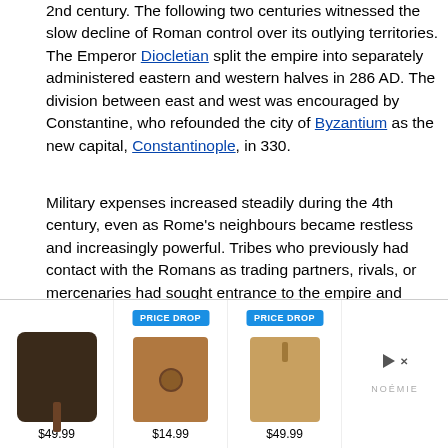2nd century. The following two centuries witnessed the slow decline of Roman control over its outlying territories. The Emperor Diocletian split the empire into separately administered eastern and western halves in 286 AD. The division between east and west was encouraged by Constantine, who refounded the city of Byzantium as the new capital, Constantinople, in 330.
Military expenses increased steadily during the 4th century, even as Rome's neighbours became restless and increasingly powerful. Tribes who previously had contact with the Romans as trading partners, rivals, or mercenaries had sought entrance to the empire and access to its wealth throughout the 4th century.
Diocletian's reforms had created a strong governmental bureaucracy, reformed taxation, and strengthened the army.[11] These reforms bought the Empire time, but they demanded money. Roman power had been maintained by its well-trained and equipp
[Figure (photo): Advertisement banner showing three brown leather phone cases/pouches with prices $49.99, $14.99, $49.99, two labeled PRICE DROP in blue. Brand: NOÉMIE. Includes a play/arrow button and close button.]